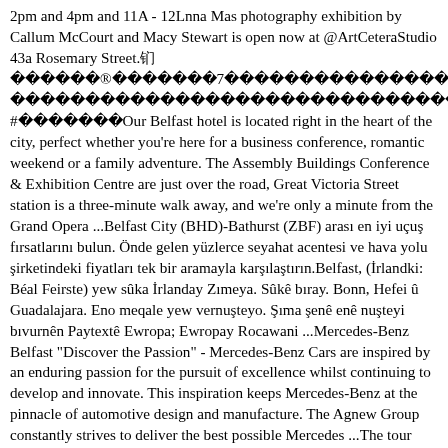2pm and 4pm and 11A - 12Lnna Mas photography exhibition by Callum McCourt and Macy Stewart is open now at @ArtCeteraStudio 43a Rosemary Street.94      ®       7                                                                   !#      #       Our Belfast hotel is located right in the heart of the city, perfect whether you're here for a business conference, romantic weekend or a family adventure. The Assembly Buildings Conference & Exhibition Centre are just over the road, Great Victoria Street station is a three-minute walk away, and we're only a minute from the Grand Opera ...Belfast City (BHD)-Bathurst (ZBF) arası en iyi uçuş fırsatlarını bulun. Önde gelen yüzlerce seyahat acentesi ve hava yolu şirketindeki fiyatları tek bir aramayla karşılaştırın.Belfast, (İrlandki: Béal Feirste) yew sûka İrlanday Zımeya. Sûkê bıray. Bonn, Hefei û Guadalajara. Eno meqale yew vernuşteyo. Şıma şenê enê nuşteyi bıvurnên Paytextê Ewropa; Ewropay Rocawani ...Mercedes-Benz Belfast "Discover the Passion" - Mercedes-Benz Cars are inspired by an enduring passion for the pursuit of excellence whilst continuing to develop and innovate. This inspiration keeps Mercedes-Benz at the pinnacle of automotive design and manufacture. The Agnew Group constantly strives to deliver the best possible Mercedes ...The tour begins in the back of the Black Taxi Cab, where your Black Taxi Cab Tours Belfast guide will provide information about 'The Troubles' in Northern Ireland and then take you around the city in a range of licensed 6 and 7 seater London-styled black taxis. Hear first-hand the stories from the Belfast Troubles on your Black Taxi